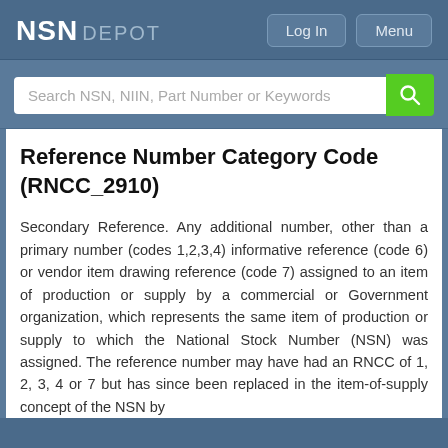NSN DEPOT
Search NSN, NIIN, Part Number or Keywords
Reference Number Category Code (RNCC_2910)
Secondary Reference. Any additional number, other than a primary number (codes 1,2,3,4) informative reference (code 6) or vendor item drawing reference (code 7) assigned to an item of production or supply by a commercial or Government organization, which represents the same item of production or supply to which the National Stock Number (NSN) was assigned. The reference number may have had an RNCC of 1, 2, 3, 4 or 7 but has since been replaced in the item-of-supply concept of the NSN by